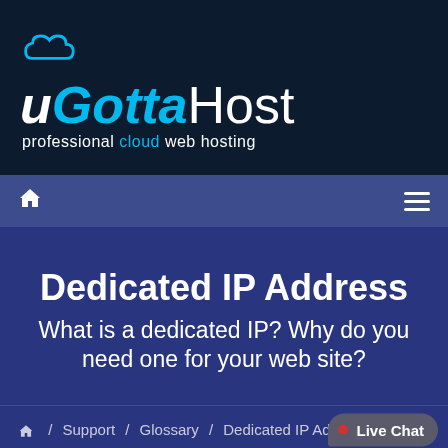[Figure (logo): uGottaHost logo with cloud icon and tagline 'professional cloud web hosting' on dark navy background]
Navigation bar with home icon and hamburger menu
Dedicated IP Address
What is a dedicated IP? Why do you need one for your web site?
Home / Support / Glossary / Dedicated IP Address
This website uses cookies. By continuing to browse this website you are giving your permission to our use of cookies. Find out more about our cookies here.